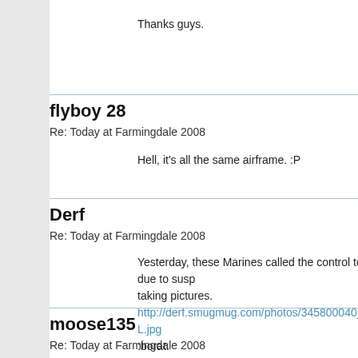Thanks guys.
flyboy 28
Re: Today at Farmingdale 2008
Hell, it's all the same airframe. :P
Derf
Re: Today at Farmingdale 2008
Yesterday, these Marines called the control tower due to susp taking pictures.
http://derf.smugmug.com/photos/345800040_AT2r3-L.jpg
:borat:
moose135
Re: Today at Farmingdale 2008